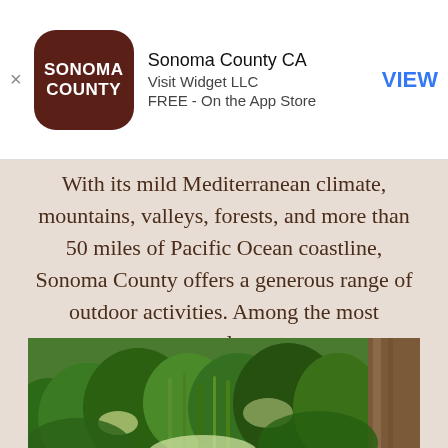[Figure (screenshot): App store banner for Sonoma County CA app by Visit Widget LLC, FREE on the App Store, with brown rounded square icon showing SONOMA COUNTY text, and VIEW button in blue]
With its mild Mediterranean climate, mountains, valleys, forests, and more than 50 miles of Pacific Ocean coastline, Sonoma County offers a generous range of outdoor activities. Among the most popular...
[Figure (photo): Photograph of a lush green forest trail or garden path with dense foliage, ferns, shrubs and a large tree trunk on the right side]
We serve cookies to analyze traffic and customize content on this site. See Privacy Policy